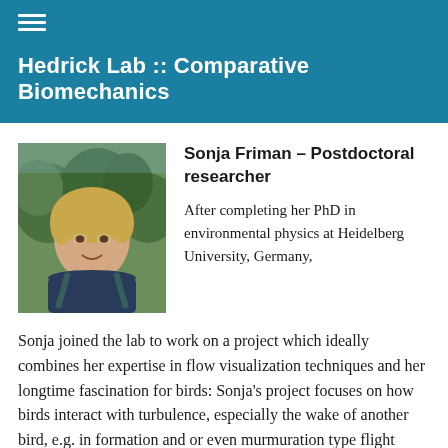Hedrick Lab :: Comparative Biomechanics
[Figure (photo): Headshot photo of Sonja Friman, a woman with light hair, smiling outdoors with trees in the background]
Sonja Friman – Postdoctoral researcher

After completing her PhD in environmental physics at Heidelberg University, Germany, Sonja joined the lab to work on a project which ideally combines her expertise in flow visualization techniques and her longtime fascination for birds: Sonja's project focuses on how birds interact with turbulence, especially the wake of another bird, e.g. in formation and or even murmuration type flight